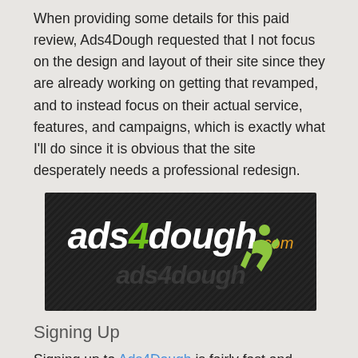When providing some details for this paid review, Ads4Dough requested that I not focus on the design and layout of their site since they are already working on getting that revamped, and to instead focus on their actual service, features, and campaigns, which is exactly what I'll do since it is obvious that the site desperately needs a professional redesign.
[Figure (logo): Ads4Dough logo on dark diagonal-stripe background with green figure icon]
Signing Up
Signing up to Ads4Dough is fairly fast and easy, taking between 5-10 minutes. After filling out the standard personal information form, users must read and agree to the terms of service.